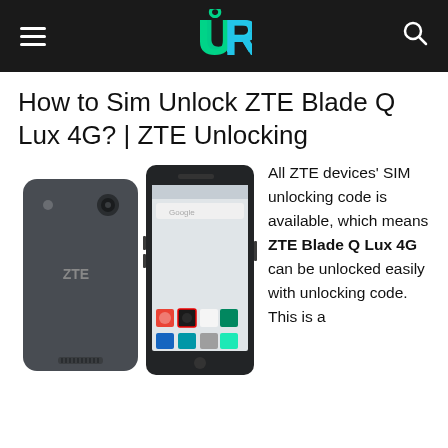TR logo header with hamburger menu and search icon
How to Sim Unlock ZTE Blade Q Lux 4G? | ZTE Unlocking
[Figure (photo): Two views of the ZTE Blade Q Lux 4G smartphone — back view (dark grey) and front view showing Android home screen with Google search bar and app icons.]
All ZTE devices' SIM unlocking code is available, which means ZTE Blade Q Lux 4G can be unlocked easily with unlocking code. This is a